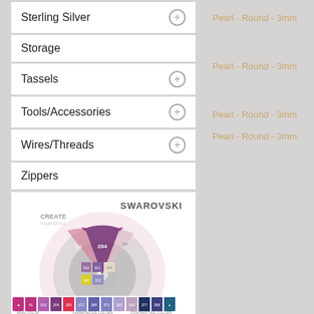Sterling Silver
Storage
Tassels
Tools/Accessories
Wires/Threads
Zippers
[Figure (infographic): Swarovski CREATE YOUR STYLE color wheel showing MAIN COLOR selection with harmonious and contrasting colors. Features a circular color chart with numbered color codes. The bottom strip shows color swatches numbered 41, 515, 204, 300, 372, 389, 371, 283, 530, 377, 398 and others. Main color shown: 204 (amethyst/purple). Harmonious colors include 312 Light Amethyst, 371 Violet, 209. Contrasting colors listed.]
Pearl - Round - 3mm
Pearl - Round - 3mm
Pearl - Round - 3mm
Pearl - Round - 3mm